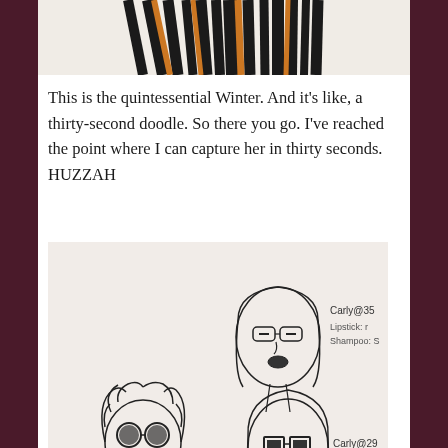[Figure (illustration): Partial view of a hand-drawn illustration showing black hair with orange highlights at the top of the page, cropped]
This is the quintessential Winter. And it's like, a thirty-second doodle. So there you go. I've reached the point where I can capture her in thirty seconds. HUZZAH
[Figure (illustration): Hand-drawn sketch showing multiple characters: a woman labeled 'Carly@35' with straight hair and glasses, a woman labeled 'Carly@19' with curly hair and round glasses, and a woman labeled 'Carly@29' with straight hair and square glasses. Notes on the drawing include 'Lipstick: r' and 'Shampoo: S'.]
Carly is a different story. In fact, it wasn't until about draft 3 that I actually knew what she looked like. (She was always just